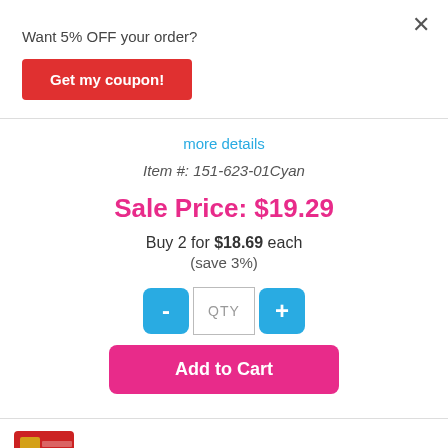×
Want 5% OFF your order?
Get my coupon!
more details
Item #: 151-623-01Cyan
Sale Price: $19.29
Buy 2 for $18.69 each
(save 3%)
- QTY +
Add to Cart